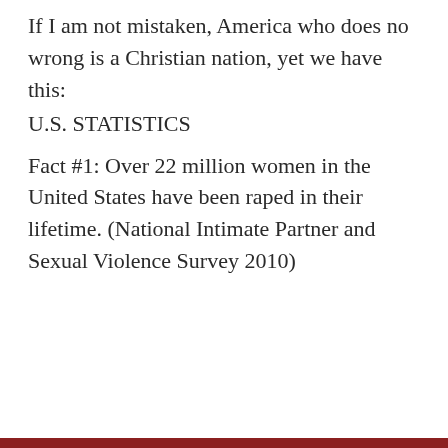If I am not mistaken, America who does no wrong is a Christian nation, yet we have this:
U.S. STATISTICS
Fact #1: Over 22 million women in the United States have been raped in their lifetime. (National Intimate Partner and Sexual Violence Survey 2010)